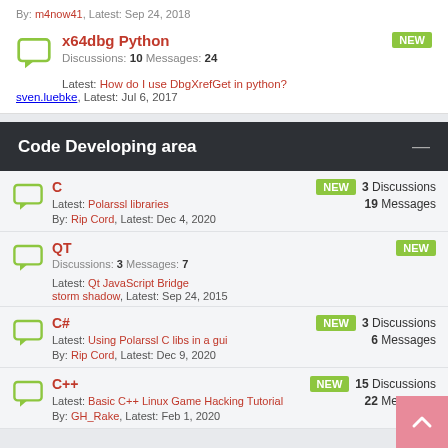By: m4now41, Latest: Sep 24, 2018
x64dbg Python
Discussions: 10 Messages: 24
Latest: How do I use DbgXrefGet in python?
sven.luebke, Latest: Jul 6, 2017
Code Developing area
C
Latest: Polarssl libraries
By: Rip Cord, Latest: Dec 4, 2020
3 Discussions 19 Messages
QT
Discussions: 3 Messages: 7
Latest: Qt JavaScript Bridge
storm shadow, Latest: Sep 24, 2015
C#
Latest: Using Polarssl C libs in a gui
By: Rip Cord, Latest: Dec 9, 2020
3 Discussions 6 Messages
C++
Latest: Basic C++ Linux Game Hacking Tutorial
By: GH_Rake, Latest: Feb 1, 2020
15 Discussions 22 Messages